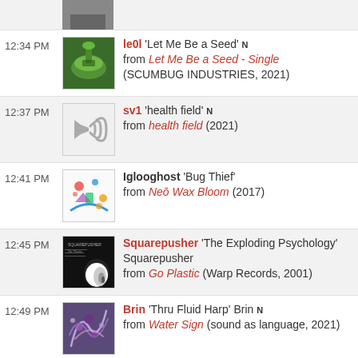12:34 PM — le0l 'Let Me Be a Seed' N from Let Me Be a Seed - Single (SCUMBUG INDUSTRIES, 2021)
12:37 PM — sv1 'health field' N from health field (2021)
12:41 PM — Iglooghost 'Bug Thief' from Neō Wax Bloom (2017)
12:45 PM — Squarepusher 'The Exploding Psychology' Squarepusher from Go Plastic (Warp Records, 2001)
12:49 PM — Brin 'Thru Fluid Harp' Brin N from Water Sign (sound as language, 2021)